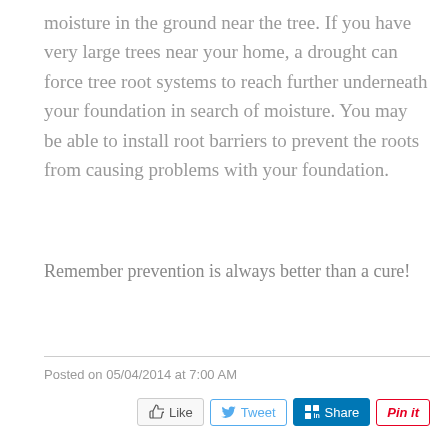moisture in the ground near the tree. If you have very large trees near your home, a drought can force tree root systems to reach further underneath your foundation in search of moisture. You may be able to install root barriers to prevent the roots from causing problems with your foundation.
Remember prevention is always better than a cure!
Posted on 05/04/2014 at 7:00 AM